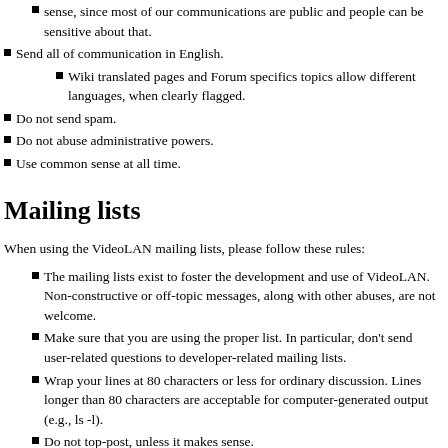sense, since most of our communications are public and people can be sensitive about that.
Send all of communication in English.
Wiki translated pages and Forum specifics topics allow different languages, when clearly flagged.
Do not send spam.
Do not abuse administrative powers.
Use common sense at all time.
Mailing lists
When using the VideoLAN mailing lists, please follow these rules:
The mailing lists exist to foster the development and use of VideoLAN. Non-constructive or off-topic messages, along with other abuses, are not welcome.
Make sure that you are using the proper list. In particular, don't send user-related questions to developer-related mailing lists.
Wrap your lines at 80 characters or less for ordinary discussion. Lines longer than 80 characters are acceptable for computer-generated output (e.g., ls -l).
Do not top-post, unless it makes sense.
Never send your messages in HTML-only; use plain text instead.
Avoid sending large attachments. Attachments over 65k are